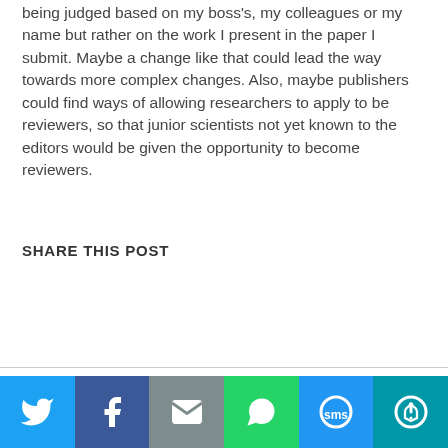being judged based on my boss's, my colleagues or my name but rather on the work I present in the paper I submit. Maybe a change like that could lead the way towards more complex changes. Also, maybe publishers could find ways of allowing researchers to apply to be reviewers, so that junior scientists not yet known to the editors would be given the opportunity to become reviewers.
SHARE THIS POST
[Figure (infographic): Social sharing bar with icons for Twitter, Facebook, Email, WhatsApp, SMS, and More]